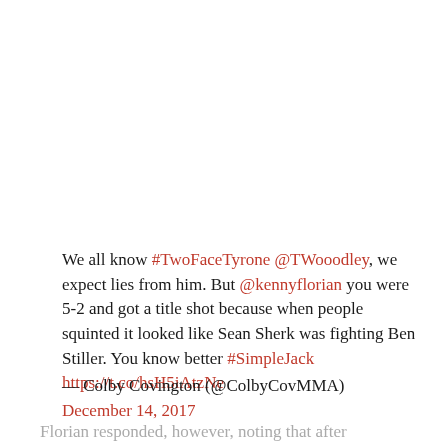We all know #TwoFaceTyrone @TWooodley, we expect lies from him. But @kennyflorian you were 5-2 and got a title shot because when people squinted it looked like Sean Sherk was fighting Ben Stiller. You know better #SimpleJack https://t.co/hsH5iAtzNe
— Colby Covington (@ColbyCovMMA) December 14, 2017
Florian responded, however, noting that after Covington had used homophobic slurs in public, he